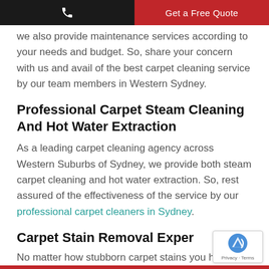☎ Get a Free Quote
we also provide maintenance services according to your needs and budget. So, share your concern with us and avail of the best carpet cleaning service by our team members in Western Sydney.
Professional Carpet Steam Cleaning And Hot Water Extraction
As a leading carpet cleaning agency across Western Suburbs of Sydney, we provide both steam carpet cleaning and hot water extraction. So, rest assured of the effectiveness of the service by our professional carpet cleaners in Sydney.
Carpet Stain Removal Exper…
No matter how stubborn carpet stains you have